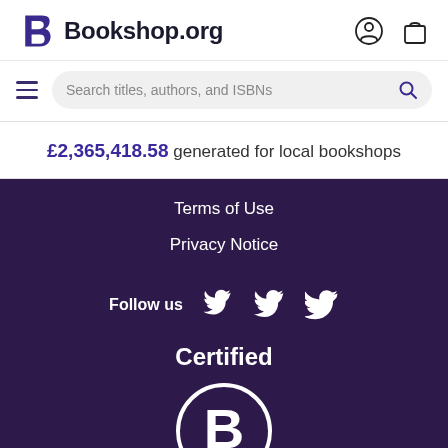[Figure (logo): Bookshop.org logo with stylized B and wordmark, plus user account and shopping bag icons in the top navigation bar]
[Figure (screenshot): Navigation bar with hamburger menu and search bar reading 'Search titles, authors, and ISBNs']
£2,365,418.58 generated for local bookshops
Terms of Use
Privacy Notice
Follow us
[Figure (illustration): Social media icons: Twitter bird, Facebook f in circle, Instagram camera in rounded square]
Certified
[Figure (logo): Certified B Corporation logo: large B inside a circle]